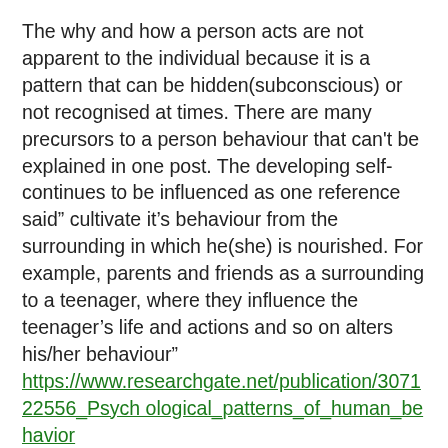The why and how a person acts are not apparent to the individual because it is a pattern that can be hidden(subconscious) or not recognised at times. There are many precursors to a person behaviour that can't be explained in one post. The developing self-continues to be influenced as one reference said” cultivate it’s behaviour from the surrounding in which he(she) is nourished. For example, parents and friends as a surrounding to a teenager, where they influence the teenager’s life and actions and so on alters his/her behaviour” https://www.researchgate.net/publication/307122556_Psychological_patterns_of_human_behavior
Tolerance is an interesting word in etymology that gives a clearer picture. Toleration is derived from French root word to carry, the opposite to avoidance. Another perspective of the word says” The specific religious sense is from 1609; as in Act of Toleration (1689), statute granting freedom of religious